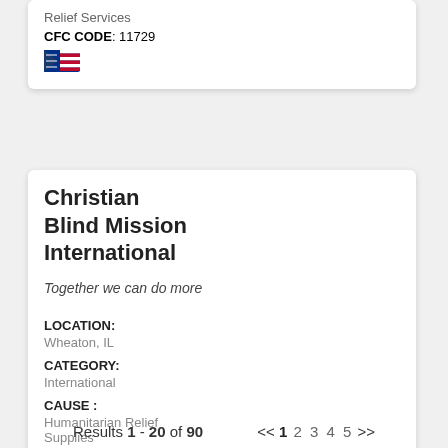Relief Services
CFC CODE: 11729
[Figure (logo): CFC Combined Federal Campaign flag/logo icon]
Christian Blind Mission International
Together we can do more
LOCATION:
Wheaton, IL
CATEGORY:
International
CAUSE :
Humanitarian Relief Supplies
CFC CODE: 12136
[Figure (logo): CFC Combined Federal Campaign flag/logo icon]
DETAILS >
GIVE WITH CONFIDENCE — 3 out of 4 stars rating
Results 1 - 20 of 90   << 1 2 3 4 5 >>